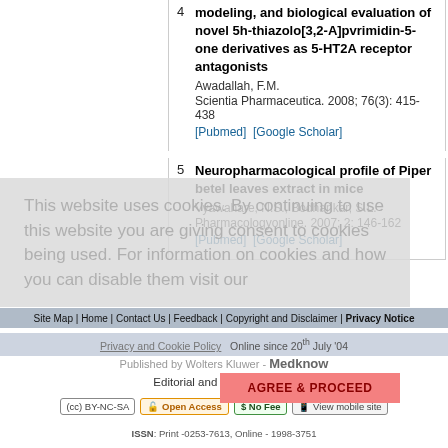4. modeling, and biological evaluation of novel 5h-thiazolo[3,2-A]pvrimidin-5-one derivatives as 5-HT2A receptor antagonists. Awadallah, F.M. Scientia Pharmaceutica. 2008; 76(3): 415-438 [Pubmed] [Google Scholar]
5. Neuropharmacological profile of Piper betel leaves extract in mice. Vyawahare, N.S., Bodhankar, S.L. Pharmacologyonline. 2007; 2: 146-162 [Pubmed] [Google Scholar]
This website uses cookies. By continuing to use this website you are giving consent to cookies being used. For information on cookies and how you can disable them visit our
Site Map | Home | Contact Us | Feedback | Copyright and Disclaimer | Privacy Notice
Privacy and Cookie Policy   Online since 20th July '04
Published by Wolters Kluwer - Medknow
Editorial and Ethics Policies
ISSN: Print -0253-7613, Online - 1998-3751